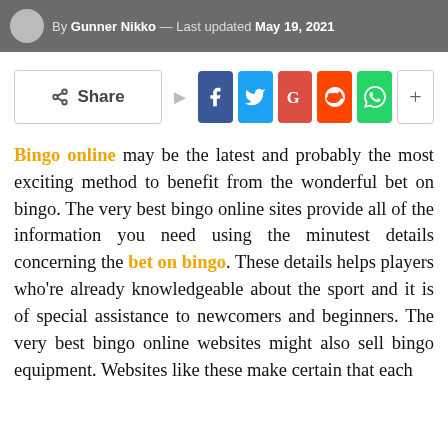By Gunner Nikko — Last updated May 19, 2021
[Figure (infographic): Social share bar with Share label, Facebook, Twitter, Google+, Reddit, WhatsApp, and more (+) buttons]
Bingo online may be the latest and probably the most exciting method to benefit from the wonderful bet on bingo. The very best bingo online sites provide all of the information you need using the minutest details concerning the bet on bingo. These details helps players who’re already knowledgeable about the sport and it is of special assistance to newcomers and beginners. The very best bingo online websites might also sell bingo equipment. Websites like these make certain that each